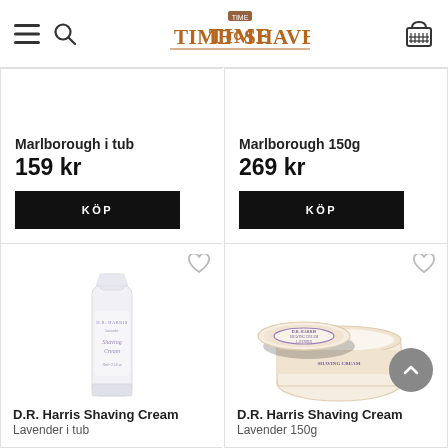TIME TO SHAVE — navigation header with hamburger menu, search, logo, and cart icon
Marlborough i tub
159 kr
KÖP
Marlborough 150g
269 kr
KÖP
[Figure (photo): D.R. Harris Shaving Cream tube, white with purple/lavender text, shown upright]
D.R. Harris Shaving Cream Lavender i tub
[Figure (photo): D.R. Harris Shaving Cream open jar showing cream inside, lid placed beside, beige/cream colored container with purple label]
D.R. Harris Shaving Cream Lavender 150g